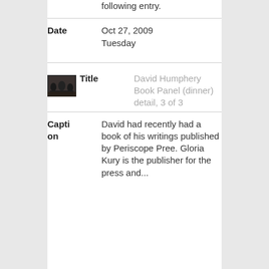following entry.
Date: Oct 27, 2009 Tuesday
[Figure (photo): Small thumbnail photo of people at a dinner/panel event]
Title: David Humphery Book Panel (dinner) detail, 3 of 3
Caption: David had recently had a book of his writings published by Periscope Pree. Gloria Kury is the publisher for the press and...